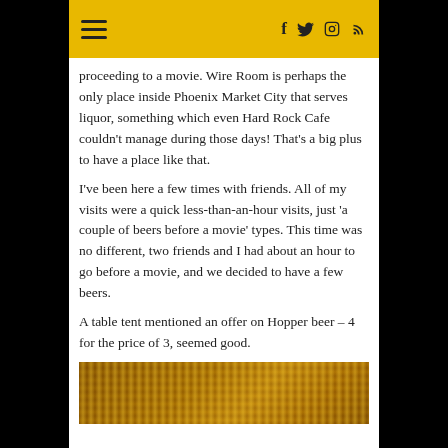≡   f  𝕏  ⊙  RSS
proceeding to a movie.  Wire Room is perhaps the only place inside Phoenix Market City that serves liquor, something which even Hard Rock Cafe couldn't manage during those days!  That's a big plus to have a place like that.
I've been here a few times with friends.  All of my visits were a quick less-than-an-hour visits, just 'a couple of beers before a movie' types.  This time was no different, two friends and I had about an hour to go before a movie, and we decided to have a few beers.
A table tent mentioned an offer on Hopper beer – 4 for the price of 3, seemed good.
[Figure (photo): Close-up photo of golden/amber colored beer bottles or glasses with decorative patterns, warm tones.]